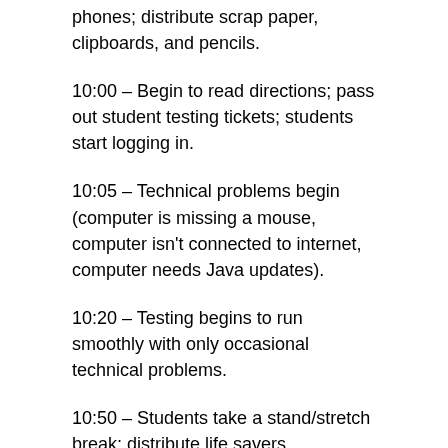phones; distribute scrap paper, clipboards, and pencils.
10:00 – Begin to read directions; pass out student testing tickets; students start logging in.
10:05 – Technical problems begin (computer is missing a mouse, computer isn't connected to internet, computer needs Java updates).
10:20 – Testing begins to run smoothly with only occasional technical problems.
10:50 – Students take a stand/stretch break; distribute life savers.
11:20 – Test is completed; collect scrap paper, clipboards, and pencils; return cell phones.